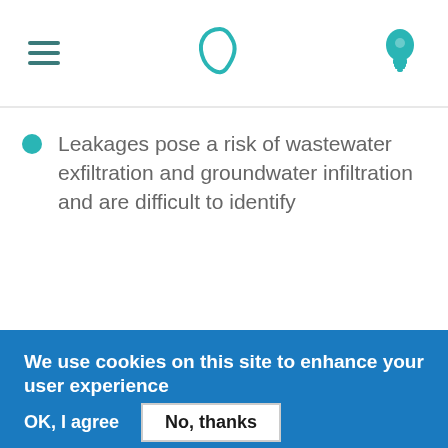[Figure (logo): Website header with hamburger menu icon on the left, a teal speech-bubble/leaf logo in the center, and a teal lightbulb icon on the right]
Leakages pose a risk of wastewater exfiltration and groundwater infiltration and are difficult to identify
We use cookies on this site to enhance your user experience

In order to offer you the best experience, we have set our website to use cookies. By pressing "OK, I agree" you agree that you are happy for us to use store these cookies. To get more details or to change your cookie settings for our website please see our data use policy. More info
OK, I agree    No, thanks